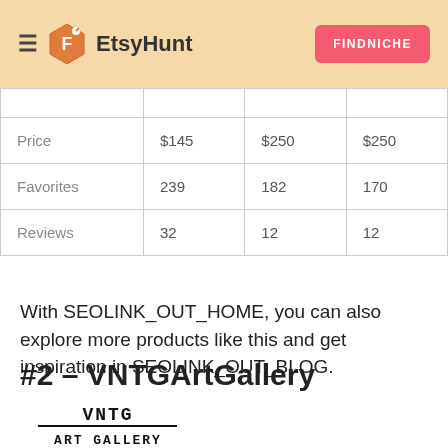EtsyHunt  FINDNICHE
|  | Col1 | Col2 | Col3 |
| --- | --- | --- | --- |
| Price | $145 | $250 | $250 |
| Favorites | 239 | 182 | 170 |
| Reviews | 32 | 12 | 12 |
With SEOLINK_OUT_HOME, you can also explore more products like this and get inspiration in SEOLINK_OUT_BLOG.
#2 – VNTGArtGallery
[Figure (logo): VNTG Art Gallery logo — text-based logo with 'VNTG' on top and 'ART GALLERY' below, separated by a horizontal line]